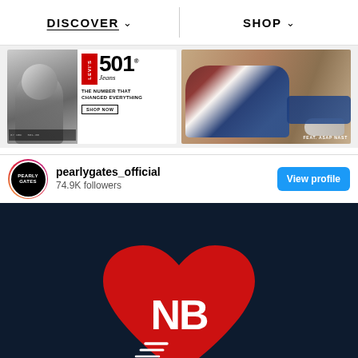DISCOVER ∨   SHOP ∨
[Figure (photo): Levi's 501 Jeans advertisement - left: black and white portrait photo, right: Levi's 501 Jeans logo with text 'THE NUMBER THAT CHANGED EVERYTHING' and 'SHOP NOW' button]
[Figure (photo): Levi's advertisement featuring ASAP Nast lounging in denim, label reads 'FEAT. ASAP NAST']
pearlygates_official
74.9K followers
[Figure (photo): Instagram post from pearlygates_official showing New Balance logo inside a red heart shape on dark navy background]